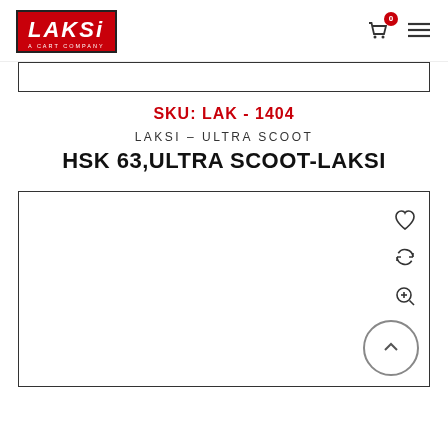[Figure (logo): LAKSI A CART COMPANY logo in red box with white text]
[Figure (screenshot): Top image strip border placeholder]
SKU: LAK - 1404
LAKSI – ULTRA SCOOT
HSK 63,ULTRA SCOOT-LAKSI
[Figure (photo): Product image container with heart, refresh, and zoom icons on right side, and scroll-to-top button at bottom right]